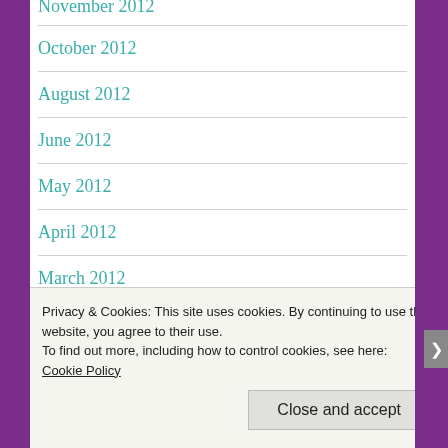November 2012
October 2012
August 2012
June 2012
May 2012
April 2012
March 2012
February 2012
Privacy & Cookies: This site uses cookies. By continuing to use this website, you agree to their use.
To find out more, including how to control cookies, see here: Cookie Policy
Close and accept